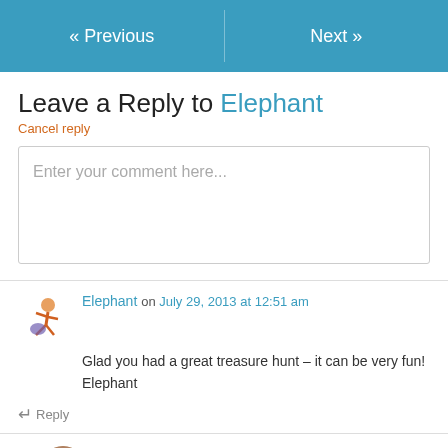« Previous   Next »
Leave a Reply to Elephant
Cancel reply
Enter your comment here...
Elephant on July 29, 2013 at 12:51 am
Glad you had a great treasure hunt – it can be very fun! Elephant
↵ Reply
afternoonartist on July 30, 2013 at 2:36 am
It sure is. I like picking up strange objects and figuring